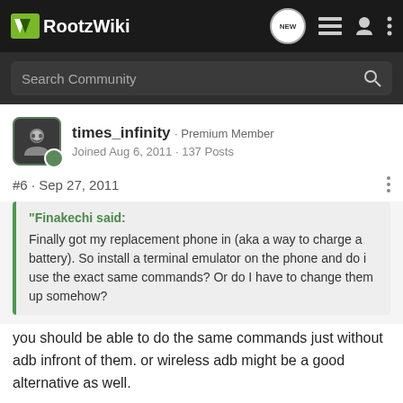RootzWiki
Search Community
times_infinity · Premium Member
Joined Aug 6, 2011 · 137 Posts
#6 · Sep 27, 2011
"Finakechi said:
Finally got my replacement phone in (aka a way to charge a battery). So install a terminal emulator on the phone and do i use the exact same commands? Or do I have to change them up somehow?
you should be able to do the same commands just without adb infront of them. or wireless adb might be a good alternative as well.